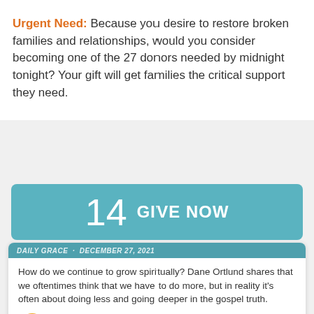Urgent Need: Because you desire to restore broken families and relationships, would you consider becoming one of the 27 donors needed by midnight tonight? Your gift will get families the critical support they need.
[Figure (other): Teal call-to-action button showing '14 GIVE NOW']
How do we continue to grow spiritually? Dane Ortlund shares that we oftentimes think that we have to do more, but in reality it's often about doing less and going deeper in the gospel truth.
[Figure (other): Audio player with orange play button, time display 00:00 / 00:00 and progress bar]